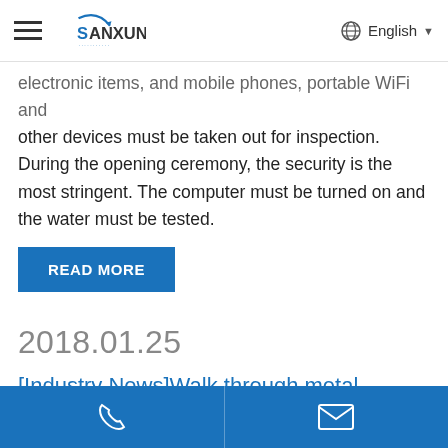SANXUN | English
electronic items, and mobile phones, portable WIFI and other devices must be taken out for inspection. During the opening ceremony, the security is the most stringent. The computer must be turned on and the water must be tested.
READ MORE
2018.01.25
[Industry News]Walk through metal detector door is safeguard to electronics
Phone | Email